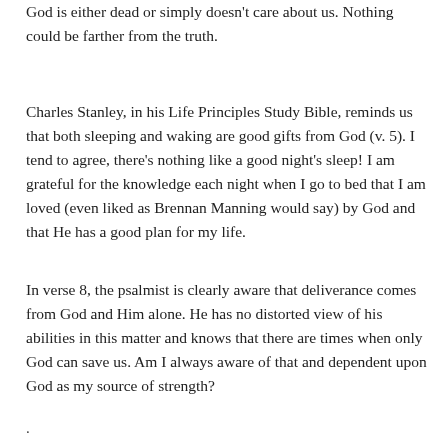God is either dead or simply doesn't care about us. Nothing could be farther from the truth.
Charles Stanley, in his Life Principles Study Bible, reminds us that both sleeping and waking are good gifts from God (v. 5). I tend to agree, there's nothing like a good night's sleep! I am grateful for the knowledge each night when I go to bed that I am loved (even liked as Brennan Manning would say) by God and that He has a good plan for my life.
In verse 8, the psalmist is clearly aware that deliverance comes from God and Him alone. He has no distorted view of his abilities in this matter and knows that there are times when only God can save us. Am I always aware of that and dependent upon God as my source of strength?
.